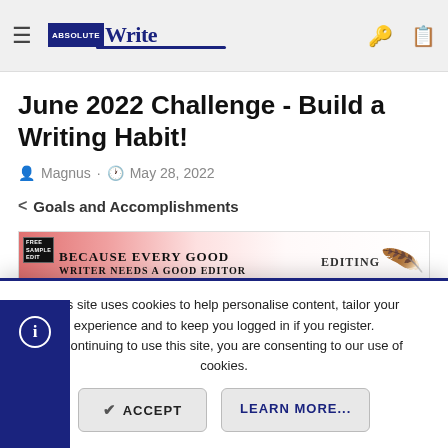Absolute Write
June 2022 Challenge - Build a Writing Habit!
Magnus · May 28, 2022
< Goals and Accomplishments
[Figure (other): Advertisement banner: Because every good writer needs a good editor. Editing. Free sample edit.]
This site uses cookies to help personalise content, tailor your experience and to keep you logged in if you register. By continuing to use this site, you are consenting to our use of cookies.
ACCEPT
LEARN MORE...